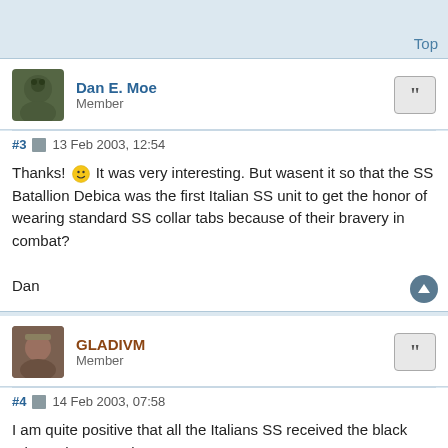Top
Dan E. Moe
Member
#3  13 Feb 2003, 12:54
Thanks! 😀 It was very interesting. But wasent it so that the SS Batallion Debica was the first Italian SS unit to get the honor of wearing standard SS collar tabs because of their bravery in combat?

Dan
GLADIVM
Member
#4  14 Feb 2003, 07:58
I am quite positive that all the Italians SS received the black tabs at the same time .
The history of italian waffen ss is still a bit unclear and many points are